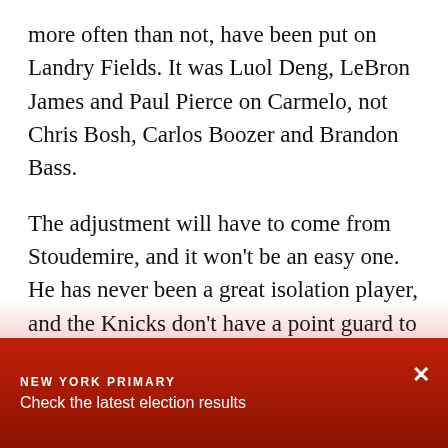more often than not, have been put on Landry Fields. It was Luol Deng, LeBron James and Paul Pierce on Carmelo, not Chris Bosh, Carlos Boozer and Brandon Bass.
The adjustment will have to come from Stoudemire, and it won't be an easy one. He has never been a great isolation player, and the Knicks don't have a point guard to help set him up on pick-and-roll plays. The first thing Stoudemire needs to do is focus on defense and rebounding. The worst thing he can do is make the Knicks worse on that end of the floor. Offensively, he has to be able to hit the open spot-up mid-range jump shot and move without the ball to
NEW YORK PRIMARY
Check the latest election results